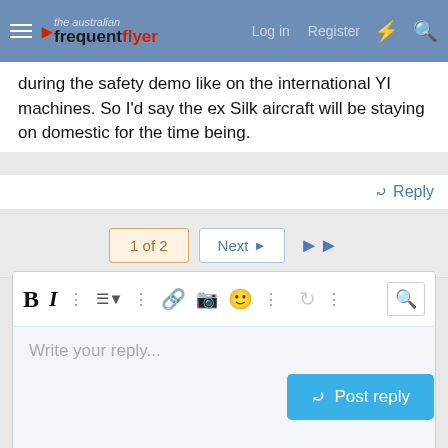The Australian Frequent Flyer — Log in  Register
during the safety demo like on the international YI machines. So I'd say the ex Silk aircraft will be staying on domestic for the time being.
Reply
1 of 2   Next   ▶▶
[Figure (screenshot): Forum reply text editor with toolbar (Bold, Italic, list, link, image, emoji, undo, preview buttons) and placeholder text 'Write your reply...']
Post reply